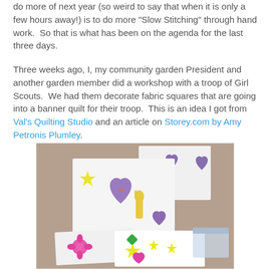do more of next year (so weird to say that when it is only a few hours away!) is to do more "Slow Stitching" through hand work.  So that is what has been on the agenda for the last three days.

Three weeks ago, I, my community garden President and another garden member did a workshop with a troop of Girl Scouts.  We had them decorate fabric squares that are going into a banner quilt for their troop.  This is an idea I got from Val's Quilting Studio and an article on Storey.com by Amy Petronis Plumley.
[Figure (photo): Photo of decorated fabric squares with hearts, stars, and flowers appliqued on white fabric squares, laid out on a table.]